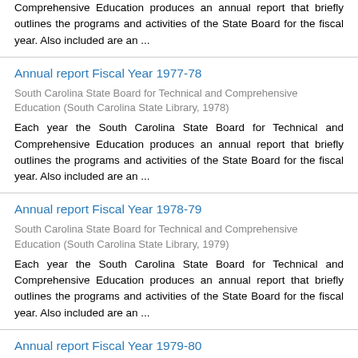Comprehensive Education produces an annual report that briefly outlines the programs and activities of the State Board for the fiscal year. Also included are an ...
Annual report Fiscal Year 1977-78
South Carolina State Board for Technical and Comprehensive Education (South Carolina State Library, 1978)
Each year the South Carolina State Board for Technical and Comprehensive Education produces an annual report that briefly outlines the programs and activities of the State Board for the fiscal year. Also included are an ...
Annual report Fiscal Year 1978-79
South Carolina State Board for Technical and Comprehensive Education (South Carolina State Library, 1979)
Each year the South Carolina State Board for Technical and Comprehensive Education produces an annual report that briefly outlines the programs and activities of the State Board for the fiscal year. Also included are an ...
Annual report Fiscal Year 1979-80
South Carolina State Board for Technical and Comprehensive Education (South Carolina State Library, 1980)